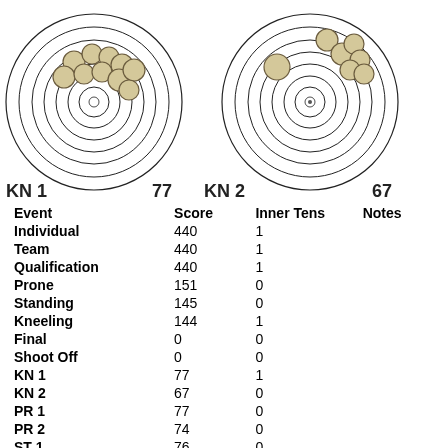[Figure (other): Two shooting targets side by side. Left target labeled KN 1 with score 77, showing multiple bullet holes clustered in upper left area. Right target labeled KN 2 with score 67, showing bullet holes clustered in upper right area with one central hit.]
| Event | Score | Inner Tens | Notes |
| --- | --- | --- | --- |
| Individual | 440 | 1 |  |
| Team | 440 | 1 |  |
| Qualification | 440 | 1 |  |
| Prone | 151 | 0 |  |
| Standing | 145 | 0 |  |
| Kneeling | 144 | 1 |  |
| Final | 0 | 0 |  |
| Shoot Off | 0 | 0 |  |
| KN 1 | 77 | 1 |  |
| KN 2 | 67 | 0 |  |
| PR 1 | 77 | 0 |  |
| PR 2 | 74 | 0 |  |
| ST 1 | 76 | 0 |  |
| ST 2 | 69 | 0 |  |
| K1 | 10.0 | 0 |  |